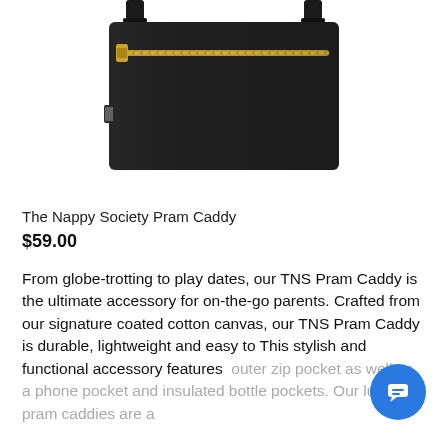[Figure (photo): Black pram caddy bag with gold zipper on front, two black hook attachments at top for stroller rail, shown against white background]
The Nappy Society Pram Caddy
$59.00
From globe-trotting to play dates, our TNS Pram Caddy is the ultimate accessory for on-the-go parents. Crafted from our signature coated cotton canvas, our TNS Pram Caddy is durable, lightweight and easy to. This stylish and functional accessory features outer zip pocket as well as a phone pocket and insulated bottle pockets. Our luxe pram caddies are a